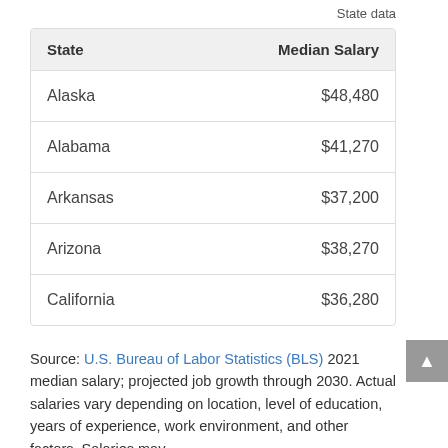State data
| State | Median Salary |
| --- | --- |
| Alaska | $48,480 |
| Alabama | $41,270 |
| Arkansas | $37,200 |
| Arizona | $38,270 |
| California | $36,280 |
Source: U.S. Bureau of Labor Statistics (BLS) 2021 median salary; projected job growth through 2030. Actual salaries vary depending on location, level of education, years of experience, work environment, and other factors. Salaries may differ…